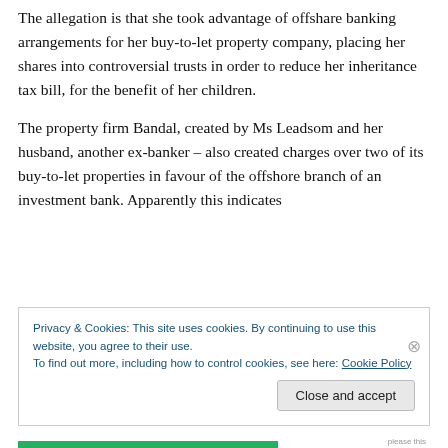The allegation is that she took advantage of offshare banking arrangements for her buy-to-let property company, placing her shares into controversial trusts in order to reduce her inheritance tax bill, for the benefit of her children.
The property firm Bandal, created by Ms Leadsom and her husband, another ex-banker – also created charges over two of its buy-to-let properties in favour of the offshore branch of an investment bank. Apparently this indicates
Privacy & Cookies: This site uses cookies. By continuing to use this website, you agree to their use.
To find out more, including how to control cookies, see here: Cookie Policy